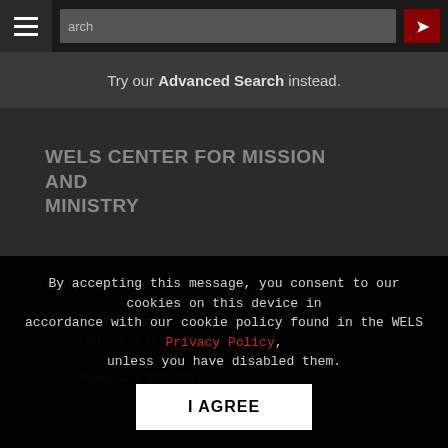Search bar with hamburger menu and search button
Try our Advanced Search instead.
WELS CENTER FOR MISSION AND MINISTRY
N16W23377
Stone Ridge Drive
Waukesha, WI 53188
CONTACT US
Hours: Monday-Friday
8:00 a.m.-4:30 p.m.
Phone: 414-256-320
By accepting this message, you consent to our cookies on this device in accordance with our cookie policy found in the WELS Privacy Policy, unless you have disabled them.
I AGREE